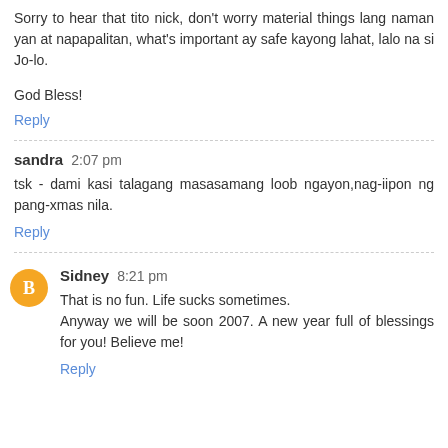Sorry to hear that tito nick, don't worry material things lang naman yan at napapalitan, what's important ay safe kayong lahat, lalo na si Jo-lo.
God Bless!
Reply
sandra 2:07 pm
tsk - dami kasi talagang masasamang loob ngayon,nag-iipon ng pang-xmas nila.
Reply
Sidney 8:21 pm
That is no fun. Life sucks sometimes.
Anyway we will be soon 2007. A new year full of blessings for you! Believe me!
Reply